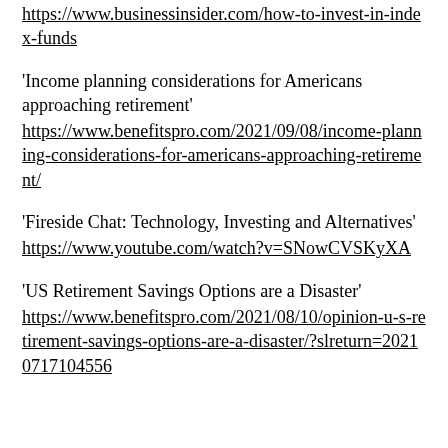https://www.businessinsider.com/how-to-invest-in-index-funds
'Income planning considerations for Americans approaching retirement' https://www.benefitspro.com/2021/09/08/income-planning-considerations-for-americans-approaching-retirement/
'Fireside Chat: Technology, Investing and Alternatives' https://www.youtube.com/watch?v=SNowCVSKyXA
'US Retirement Savings Options are a Disaster' https://www.benefitspro.com/2021/08/10/opinion-u-s-retirement-savings-options-are-a-disaster/?slreturn=20210717104556